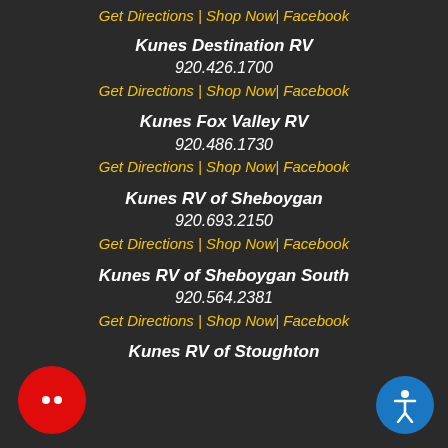Get Directions | Shop Now| Facebook
Kunes Destination RV
920.426.1700
Get Directions | Shop Now| Facebook
Kunes Fox Valley RV
920.486.1730
Get Directions | Shop Now| Facebook
Kunes RV of Sheboygan
920.693.2150
Get Directions | Shop Now| Facebook
Kunes RV of Sheboygan South
920.564.2381
Get Directions | Shop Now| Facebook
Kunes RV of Stoughton